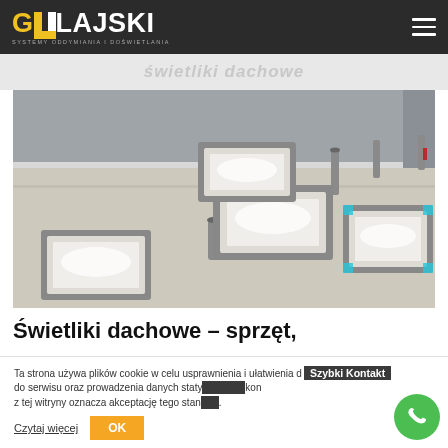GULAJSKI – Systemy Oddymiania i Doświetlania
[Figure (photo): Flat rooftop with multiple white dome skylights (świetliki dachowe) installed, grey industrial building in background]
Świetliki dachowe – sprzęt,
Ta strona używa plików cookie w celu usprawnienia i ułatwienia dostępu do serwisu oraz prowadzenia danych statystycznych. Dalsze korzystanie z tej witryny oznacza akceptację tego stanu rzeczy.
Czytaj więcej
OK
Szybki Kontakt